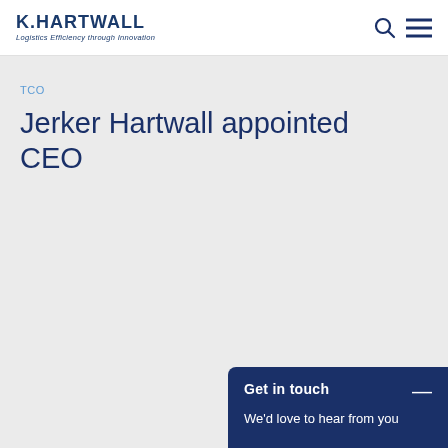K.HARTWALL Logistics Efficiency through Innovation
TCO
Jerker Hartwall appointed CEO
Get in touch — We'd love to hear from you